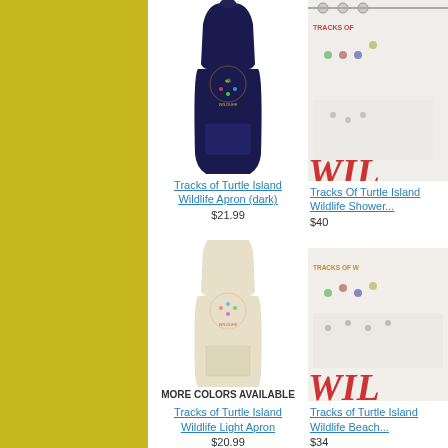[Figure (photo): Dark navy apron with colorful wildlife tracks design]
Tracks of Turtle Island Wildlife Apron (dark)
$21.99
[Figure (photo): Shower curtain with tracks of turtle island wildlife design (partially visible)]
Tracks Of Turtle Island Wildlife Shower... $40
[Figure (photo): Light cream/beige apron with colorful wildlife tracks design]
MORE COLORS AVAILABLE
Tracks of Turtle Island Wildlife Light Apron
$20.99
[Figure (photo): Beach towel with tracks of turtle island wildlife design (partially visible)]
Tracks of Turtle Island Wildlife Beach... $34